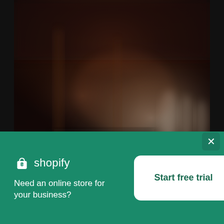[Figure (photo): Blurred dark warm-toned background photo showing what appears to be a dimly lit interior space with wooden elements, possibly a store or restaurant, with some light figures or mannequins visible in the background. Dark reddish-brown tones dominate.]
[Figure (logo): Shopify logo: white shopping bag icon with 'S' on it, followed by the word 'shopify' in white text]
Need an online store for your business?
Start free trial